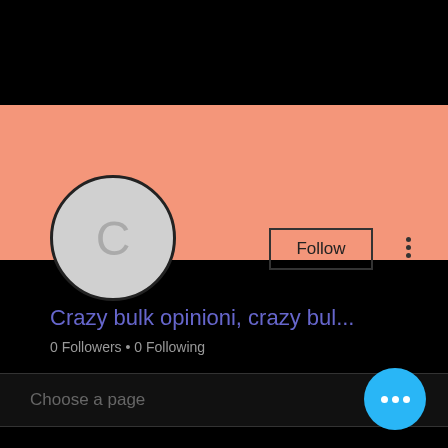[Figure (screenshot): Social media user profile screenshot showing salmon/peach banner, circular avatar with letter C, Follow button, three-dot menu, username 'Crazy bulk opinioni, crazy bul...', 0 Followers · 0 Following, Choose a page dropdown, Profile section with join date May 9 2022, and blue FAB button with ellipsis]
Crazy bulk opinioni, crazy bul...
0 Followers • 0 Following
Choose a page
Profile
Join date: May 9, 2022